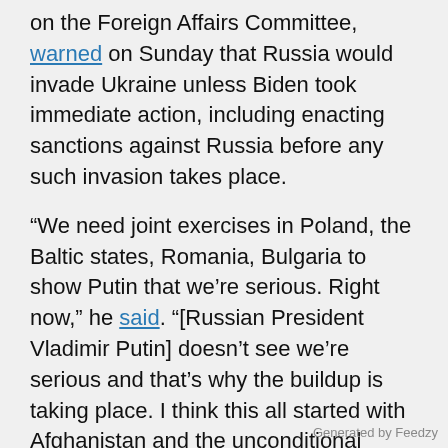on the Foreign Affairs Committee, warned on Sunday that Russia would invade Ukraine unless Biden took immediate action, including enacting sanctions against Russia before any such invasion takes place.
“We need joint exercises in Poland, the Baltic states, Romania, Bulgaria to show Putin that we’re serious. Right now,” he said. “[Russian President Vladimir Putin] doesn’t see we’re serious and that’s why the buildup is taking place. I think this all started with Afghanistan and the unconditional surrender to the Taliban when he saw weakness, weakness invites aggression. We saw that with Chamberlain and Hitler. You know, Reagan talked about peace through strength.”
Former Secretary of State and CIA Director Mike